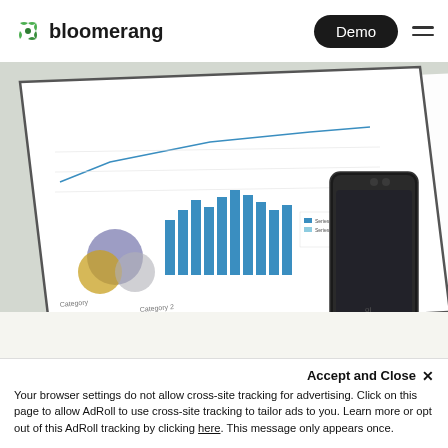bloomerang | Demo
[Figure (photo): Overhead photo of a report/tablet showing charts and graphs (bar chart, bubble chart, line chart) placed on a light surface next to a black smartphone]
[Figure (photo): Partial second view of the same report/tablet with charts, cropped at top]
Accept and Close ✕
Your browser settings do not allow cross-site tracking for advertising. Click on this page to allow AdRoll to use cross-site tracking to tailor ads to you. Learn more or opt out of this AdRoll tracking by clicking here. This message only appears once.